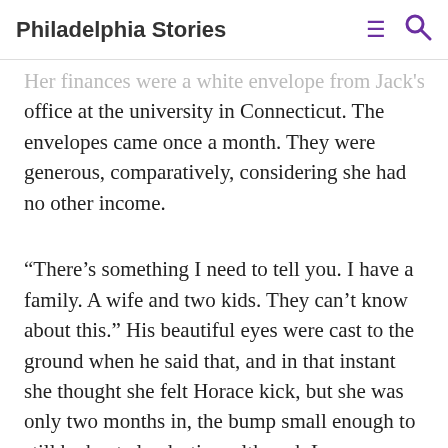Philadelphia Stories
Her finances were a white envelope from Jack's office at the university in Connecticut. The envelopes came once a month. They were generous, comparatively, considering she had no other income.
“There’s something I need to tell you. I have a family. A wife and two kids. They can’t know about this.” His beautiful eyes were cast to the ground when he said that, and in that instant she thought she felt Horace kick, but she was only two months in, the bump small enough to still be kept clandestine, although Lauren Topfield, from Hartford, whose father was a senator, commented earlier that day that “women really should be more careful about